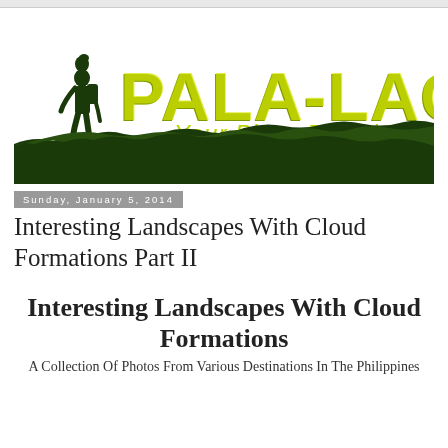[Figure (logo): Pala-Lagaw Your Pinoy Traveler logo with dark green silhouette of a hiker and landscape, yellow and dark green distressed text]
Sunday, January 5, 2014
Interesting Landscapes With Cloud Formations Part II
Interesting Landscapes With Cloud Formations
A Collection Of Photos From Various Destinations In The Philippines